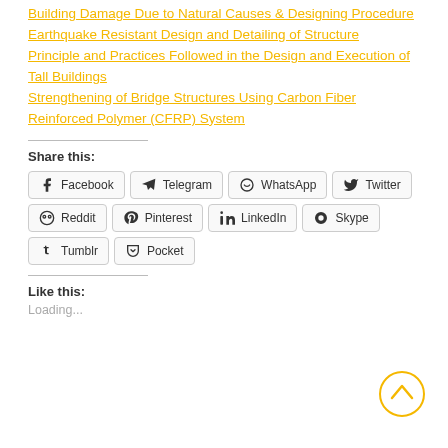Building Damage Due to Natural Causes & Designing Procedure
Earthquake Resistant Design and Detailing of Structure
Principle and Practices Followed in the Design and Execution of Tall Buildings
Strengthening of Bridge Structures Using Carbon Fiber Reinforced Polymer (CFRP) System
Share this:
Facebook  Telegram  WhatsApp  Twitter  Reddit  Pinterest  LinkedIn  Skype  Tumblr  Pocket
Like this:
Loading...